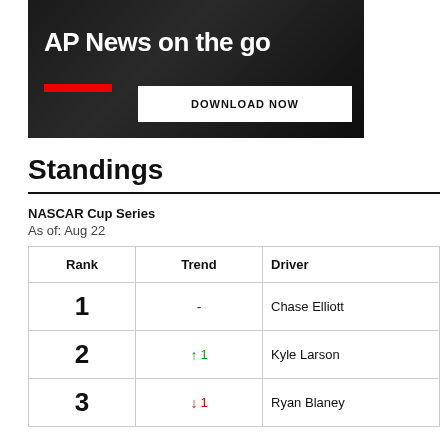[Figure (other): AP News on the go advertisement banner with dark background, red underline bar, and DOWNLOAD NOW button]
Standings
NASCAR Cup Series
As of: Aug 22
| Rank | Trend | Driver |
| --- | --- | --- |
| 1 | - | Chase Elliott |
| 2 | ↑ 1 | Kyle Larson |
| 3 | ↓ 1 | Ryan Blaney |